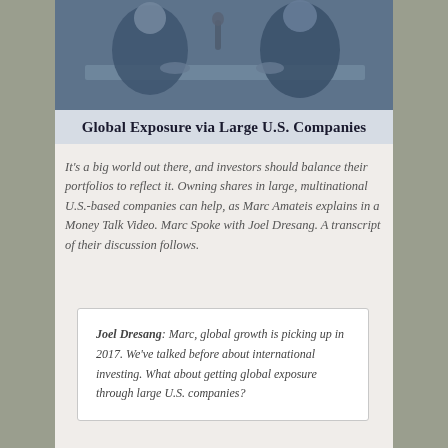[Figure (photo): Black and white photo of two men sitting at a table, appearing to have a discussion, in a meeting or interview setting.]
Global Exposure via Large U.S. Companies
It's a big world out there, and investors should balance their portfolios to reflect it. Owning shares in large, multinational U.S.-based companies can help, as Marc Amateis explains in a Money Talk Video. Marc Spoke with Joel Dresang. A transcript of their discussion follows.
Joel Dresang: Marc, global growth is picking up in 2017. We've talked before about international investing. What about getting global exposure through large U.S. companies?